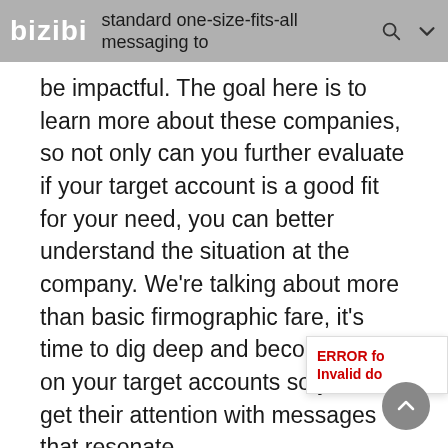bizibl  standard one-size-fits-all messaging to
be impactful. The goal here is to learn more about these companies, so not only can you further evaluate if your target account is a good fit for your need, you can better understand the situation at the company. We're talking about more than basic firmographic fare, it's time to dig deep and become expert on your target accounts so you can get their attention with messages that resonate.
Best Practice Tip
Find a comfy spot and start reading.